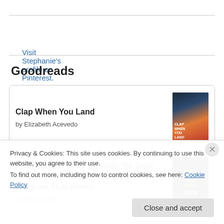Visit Stephanie's profile on Pinterest.
Goodreads
Clap When You Land
by Elizabeth Acevedo
I Will Teach You to Be Rich: No Guilt. No Excuses. No BS. Just a 6-Week Program That Works
by Ramit Sethi
Privacy & Cookies: This site uses cookies. By continuing to use this website, you agree to their use.
To find out more, including how to control cookies, see here: Cookie Policy